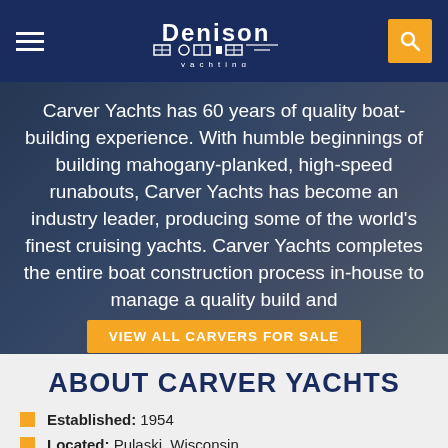Denison Yachting — navigation bar with hamburger menu, logo, and search button
[Figure (screenshot): Hero image of a yacht with dark blue overlay. Text overlay reads: 'Carver Yachts has 60 years of quality boat-building experience. With humble beginnings of building mahogany-planked, high-speed runabouts, Carver Yachts has become an industry leader, producing some of the world's finest cruising yachts. Carver Yachts completes the entire boat construction process in-house to manage a quality build and ideal blend of artisanship and te...' with a CTA button 'VIEW ALL CARVERS FOR SALE'.]
ABOUT CARVER YACHTS
Established: 1954
Located: Pulaski, Wisconsin